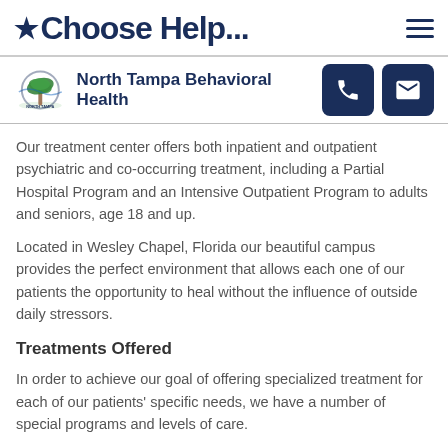★Choose Help...
[Figure (logo): North Tampa Behavioral Health logo with palm tree and facility name]
Our treatment center offers both inpatient and outpatient psychiatric and co-occurring treatment, including a Partial Hospital Program and an Intensive Outpatient Program to adults and seniors, age 18 and up.
Located in Wesley Chapel, Florida our beautiful campus provides the perfect environment that allows each one of our patients the opportunity to heal without the influence of outside daily stressors.
Treatments Offered
In order to achieve our goal of offering specialized treatment for each of our patients' specific needs, we have a number of special programs and levels of care.
Our inpatient program is for both adults and seniors in need of mental health and substance abuse treatment. The